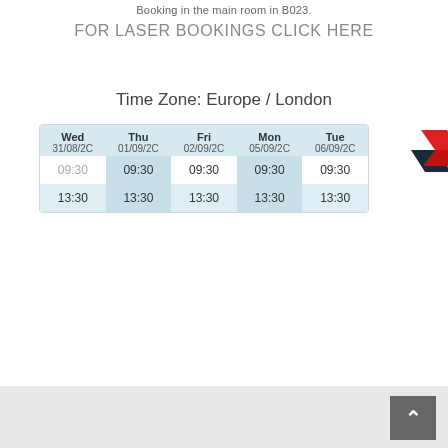Booking in the main room in B023.
FOR LASER BOOKINGS CLICK HERE
Time Zone: Europe / London
| Wed 31/08/20 | Thu 01/09/20 | Fri 02/09/20 | Mon 05/09/20 | Tue 06/09/20 |
| --- | --- | --- | --- | --- |
| 09:30 | 09:30 | 09:30 | 09:30 | 09:30 |
| 13:30 | 13:30 | 13:30 | 13:30 | 13:30 |
[Figure (logo): Red and dark angular chevron logo]
[Figure (other): Light grey bottom bar area with back-to-top button]